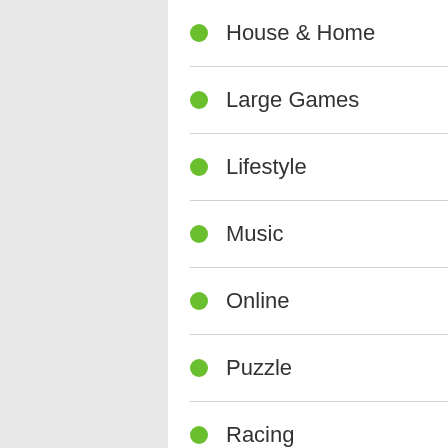House & Home
Large Games
Lifestyle
Music
Online
Puzzle
Racing
Role Playing
Simulation
Social
Sports
Strategy
Television